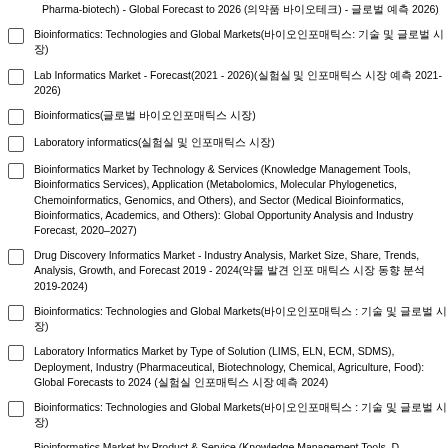Pharma-biotech) - Global Forecast to 2026 (의약품 바이오테크) - 글로벌 예측 2026)
Bioinformatics: Technologies and Global Markets(바이오인포매틱스: 기술 및 글로벌 시장)
Lab Informatics Market - Forecast(2021 - 2026)(실험실 및 인포매틱스 시장 예측 2021-2026)
Bioinformatics(글로벌 바이오인포매틱스 시장)
Laboratory informatics(실험실 및 인포매틱스 시장)
Bioinformatics Market by Technology & Services (Knowledge Management Tools, Bioinformatics Services), Application (Metabolomics, Molecular Phylogenetics, Chemoinformatics, Genomics, and Others), and Sector (Medical Bioinformatics, Bioinformatics, Academics, and Others): Global Opportunity Analysis and Industry Forecast, 2020–2027)
Drug Discovery Informatics Market - Industry Analysis, Market Size, Share, Trends, Analysis, Growth, and Forecast 2019 - 2024(약물 발견 인포 매틱스 시장 동향 분석 2019-2024)
Bioinformatics: Technologies and Global Markets(바이오인포매틱스 : 기술 및 글로벌 시장)
Laboratory Informatics Market by Type of Solution (LIMS, ELN, ECM, SDMS), Deployment, Industry (Pharmaceutical, Biotechnology, Chemical, Agriculture, Food): Global Forecasts to 2024 (실험실 인포매틱스 시장 예측 2024)
Bioinformatics: Technologies and Global Markets(바이오인포매틱스 : 기술 및 글로벌 시장)
Bioinformatics Market by Product & Service (Knowledge Management Tools, D...